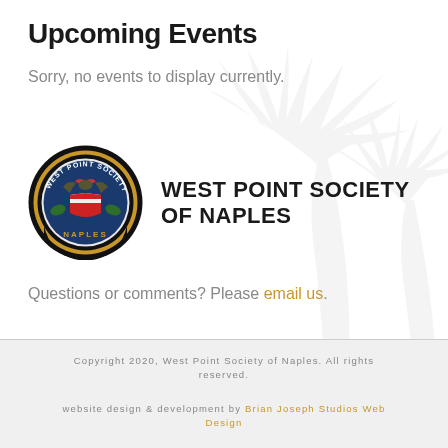Upcoming Events
Sorry, no events to display currently.
[Figure (logo): West Point Society of Naples circular seal logo with eagle, shield, and text, black border with gold ring, colorful interior, alongside large bold text reading WEST POINT SOCIETY OF NAPLES]
Questions or comments? Please email us.
Copyright 2020, West Point Society of Naples. All rights reserved. website design & development by Brian Joseph Studios Web Design